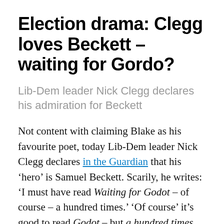Election drama: Clegg loves Beckett – waiting for Gordo?
Lib-Dem leader Nick Clegg declares his admiration for Beckett
Not content with claiming Blake as his favourite poet, today Lib-Dem leader Nick Clegg declares in the Guardian that his 'hero' is Samuel Beckett. Scarily, he writes: 'I must have read Waiting for Godot – of course – a hundred times.' 'Of course' it's good to read Godot – but a hundred times, Nick? I think you must be preparing for a Lib-Lab pact: waiting for Gordo